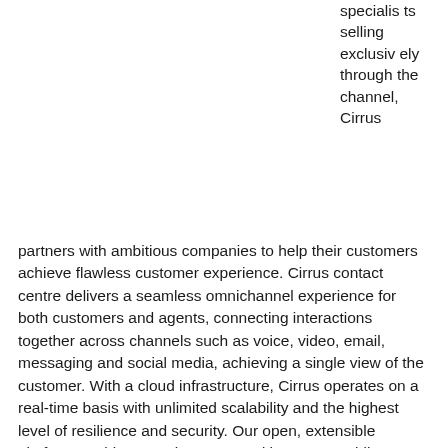specialists selling exclusively through the channel, Cirrus partners with ambitious companies to help their customers achieve flawless customer experience. Cirrus contact centre delivers a seamless omnichannel experience for both customers and agents, connecting interactions together across channels such as voice, video, email, messaging and social media, achieving a single view of the customer. With a cloud infrastructure, Cirrus operates on a real-time basis with unlimited scalability and the highest level of resilience and security. Our open, extensible platform enables us to integrate and innovate rapidly, supporting the requirements of organisations across all sectors,